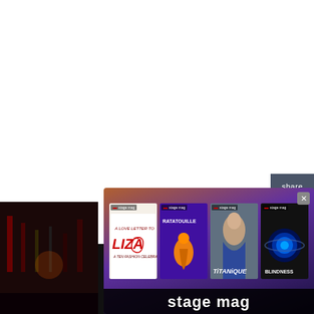[Figure (screenshot): Stage magazine advertisement overlay showing show posters: A Love Letter to Liza, Ratatouille, Titanique, Blindness, with 'stage mag' branding and social share panel with Twitter and Facebook icons on the right side.]
share
[Figure (logo): Twitter bird icon in cyan/blue]
[Figure (logo): Facebook circle icon in blue]
[Figure (advertisement): Stage mag ad with show posters for A Love Letter to Liza, RATATOUILLE, TiTANiQUE, BLINDNESS]
stage mag